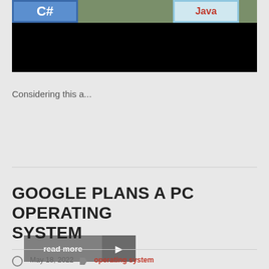[Figure (photo): Partial view of a banner/billboard image showing C# and Java programming language logos over a landscape background, lower portion is black/dark.]
Considering this a...
read more ▶
GOOGLE PLANS A PC OPERATING SYSTEM
May 18, 2022   operating system